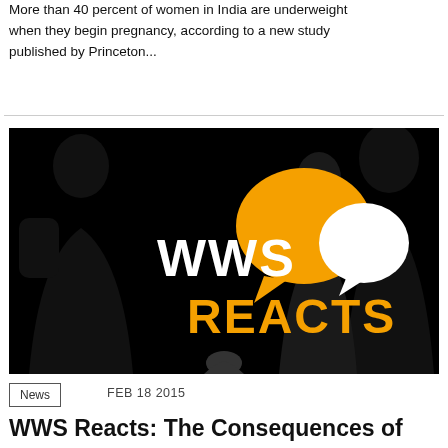More than 40 percent of women in India are underweight when they begin pregnancy, according to a new study published by Princeton...
[Figure (photo): WWS Reacts logo image: black background with silhouetted figures, text 'WWS REACTS' in white and orange, with orange and white speech bubble icons]
News   FEB 18 2015
WWS Reacts: The Consequences of